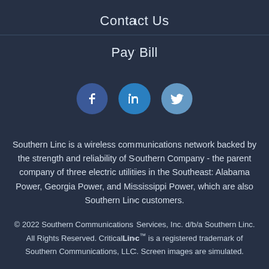Contact Us
Pay Bill
[Figure (infographic): Three social media icons in circles: Facebook (dark blue), LinkedIn (medium blue), Twitter (light blue)]
Southern Linc is a wireless communications network backed by the strength and reliability of Southern Company - the parent company of three electric utilities in the Southeast: Alabama Power, Georgia Power, and Mississippi Power, which are also Southern Linc customers.
© 2022 Southern Communications Services, Inc. d/b/a Southern Linc. All Rights Reserved. CriticalLinc™ is a registered trademark of Southern Communications, LLC. Screen images are simulated.